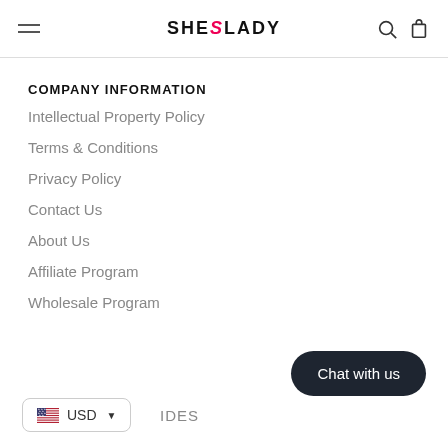SHESLADY
COMPANY INFORMATION
Intellectual Property Policy
Terms & Conditions
Privacy Policy
Contact Us
About Us
Affiliate Program
Wholesale Program
Chat with us
USD
IDES